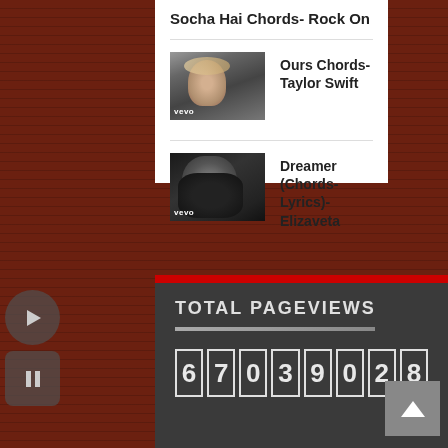Socha Hai Chords- Rock On
[Figure (photo): Thumbnail image of Taylor Swift music video with vevo watermark]
Ours Chords- Taylor Swift
[Figure (photo): Thumbnail image of Elizaveta music video with vevo watermark]
Dreamer (Chords-Lyrics)- Elizaveta
TOTAL PAGEVIEWS
67039028